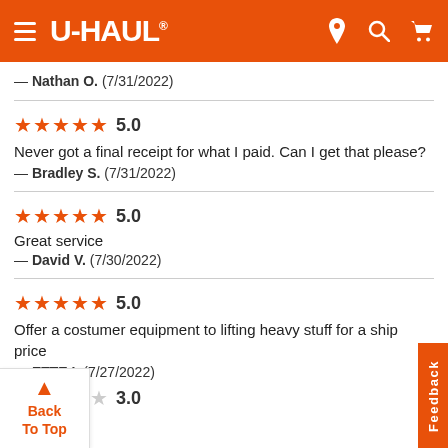U-HAUL
— Nathan O.  (7/31/2022)
5.0
Never got a final receipt for what I paid. Can I get that please?
— Bradley S.  (7/31/2022)
5.0
Great service
— David V.  (7/30/2022)
5.0
Offer a costumer equipment to lifting heavy stuff for a ship price
— ETTE I.  (7/27/2022)
3.0